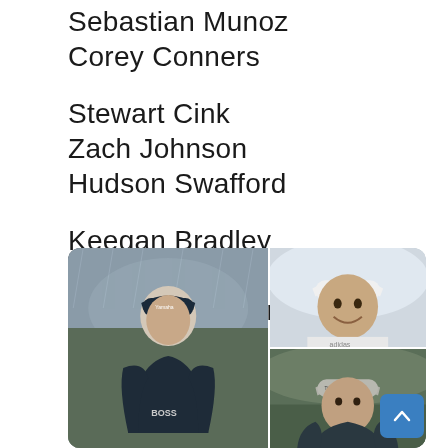Sebastian Munoz
Corey Conners
Stewart Cink
Zach Johnson
Hudson Swafford
Keegan Bradley
Sungjae Im
Scottie Scheffler
[Figure (photo): Three golf players: a large photo on the left of a man in a dark navy BOSS polo shirt and Yamaha cap in the rain; top right shows a smiling man in a white Adidas cap; bottom right shows a man in a grey Titleist cap in outdoor setting.]